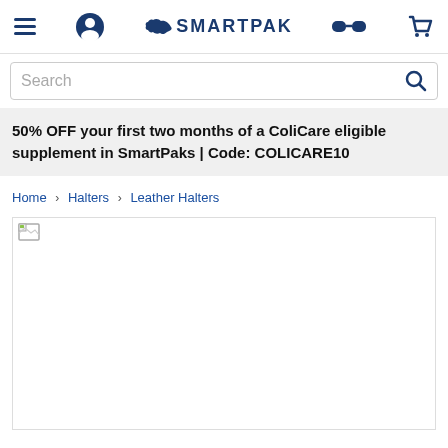SmartPak navigation header with hamburger menu, user icon, SmartPak logo, glasses icon, and cart icon
Search
50% OFF your first two months of a ColiCare eligible supplement in SmartPaks | Code: COLICARE10
Home > Halters > Leather Halters
[Figure (photo): Product image placeholder (broken image icon) for Leather Halters category on SmartPak website]